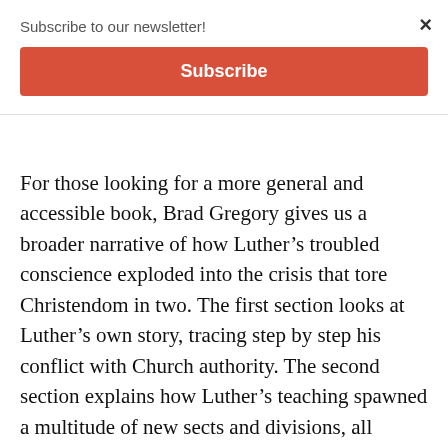Subscribe to our newsletter!
Subscribe
For those looking for a more general and accessible book, Brad Gregory gives us a broader narrative of how Luther's troubled conscience exploded into the crisis that tore Christendom in two. The first section looks at Luther's own story, tracing step by step his conflict with Church authority. The second section explains how Luther's teaching spawned a multitude of new sects and divisions, all interpreting the Bible in their own fashion. Greggory explains: “What the early Reformation shows so clearly is that scripture and the Spirt can be interpreted and applied in radically divergent ways.